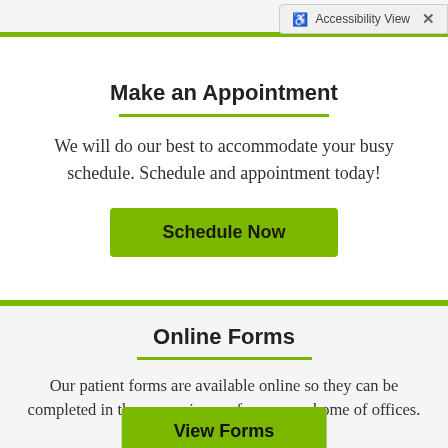Accessibility View
Make an Appointment
We will do our best to accommodate your busy schedule. Schedule and appointment today!
[Figure (other): Green 'Schedule Now' button]
Online Forms
Our patient forms are available online so they can be completed in the convenience of your own home of offices.
[Figure (other): Green 'View Forms' button (partially visible)]